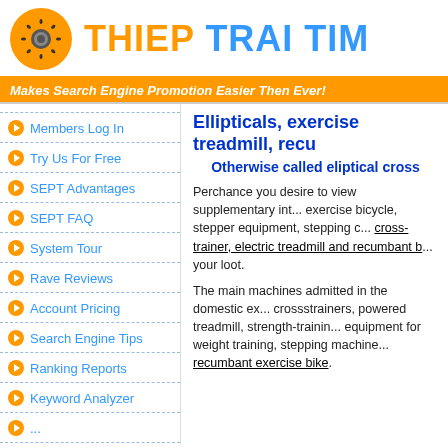[Figure (logo): Thiep Trai Tim website logo with gear/flower icon in orange circle and site name in orange and blue bold text]
Makes Search Engine Promotion Easier Then Ever!
Members Log In
Try Us For Free
SEPT Advantages
SEPT FAQ
System Tour
Rave Reviews
Account Pricing
Search Engine Tips
Ranking Reports
Keyword Analyzer
Ellipticals, exercise treadmill, recu...
Otherwise called eliptical cross...
Perchance you desire to view supplementary information about exercise bicycle, stepper equipment, stepping c... cross-trainer, electric treadmill and recumbant b... your loot.
The main machines admitted in the domestic ex... crossstrainers, powered treadmill, strength-trainin... equipment for weight training, stepping machine... recumbant exercise bike.